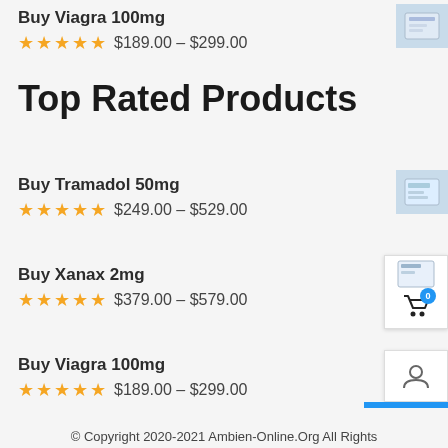Buy Viagra 100mg
★★★★★ $189.00 – $299.00
Top Rated Products
Buy Tramadol 50mg
★★★★★ $249.00 – $529.00
Buy Xanax 2mg
★★★★★ $379.00 – $579.00
Buy Viagra 100mg
★★★★★ $189.00 – $299.00
© Copyright 2020-2021 Ambien-Online.Org All Rights Reserved